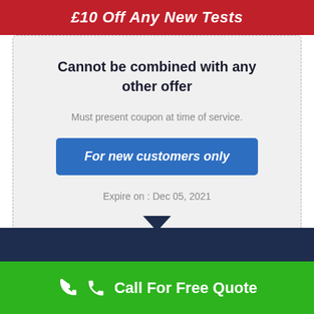£10 Off Any New Tests
Cannot be combined with any other offer
Must present coupon at time of service.
For new customers only
Expire on : Dec 05, 2021
Call For Free Quote